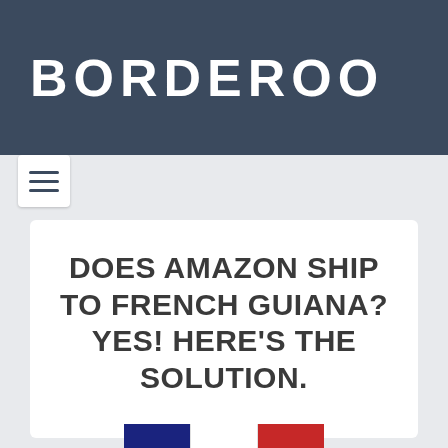BORDEROO
DOES AMAZON SHIP TO FRENCH GUIANA? YES! HERE'S THE SOLUTION.
[Figure (illustration): French flag with three vertical stripes: blue, white, and red]